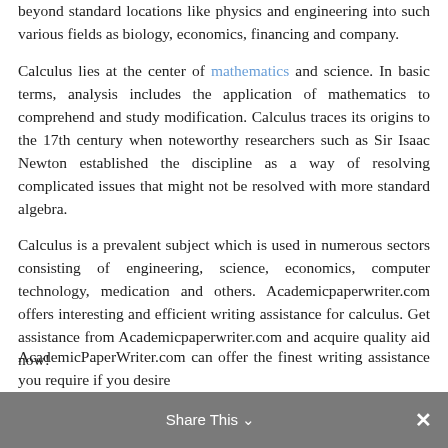beyond standard locations like physics and engineering into such various fields as biology, economics, financing and company.
Calculus lies at the center of mathematics and science. In basic terms, analysis includes the application of mathematics to comprehend and study modification. Calculus traces its origins to the 17th century when noteworthy researchers such as Sir Isaac Newton established the discipline as a way of resolving complicated issues that might not be resolved with more standard algebra.
Calculus is a prevalent subject which is used in numerous sectors consisting of engineering, science, economics, computer technology, medication and others. Academicpaperwriter.com offers interesting and efficient writing assistance for calculus. Get assistance from Academicpaperwriter.com and acquire quality aid now!
Share This
AcademicPaperWriter.com can offer the finest writing assistance you require if you desire